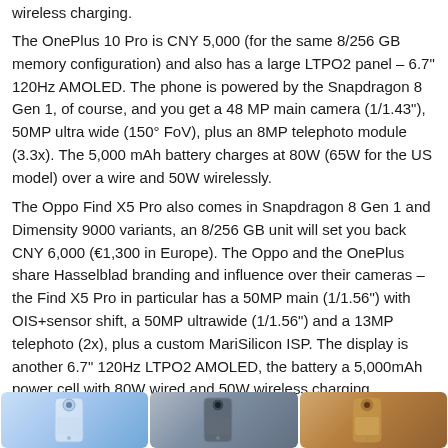wireless charging.
The OnePlus 10 Pro is CNY 5,000 (for the same 8/256 GB memory configuration) and also has a large LTPO2 panel – 6.7" 120Hz AMOLED. The phone is powered by the Snapdragon 8 Gen 1, of course, and you get a 48 MP main camera (1/1.43"), 50MP ultra wide (150° FoV), plus an 8MP telephoto module (3.3x). The 5,000 mAh battery charges at 80W (65W for the US model) over a wire and 50W wirelessly.
The Oppo Find X5 Pro also comes in Snapdragon 8 Gen 1 and Dimensity 9000 variants, an 8/256 GB unit will set you back CNY 6,000 (€1,300 in Europe). The Oppo and the OnePlus share Hasselblad branding and influence over their cameras – the Find X5 Pro in particular has a 50MP main (1/1.56") with OIS+sensor shift, a 50MP ultrawide (1/1.56") and a 13MP telephoto (2x), plus a custom MariSilicon ISP. The display is another 6.7" 120Hz LTPO2 AMOLED, the battery a 5,000mAh power cell with 80W wired and 50W wireless charging.
[Figure (photo): Three smartphone product images shown side by side at the bottom of the page — a blue/white phone, a dark gray phone, and a third phone with a gold/orange tinted back.]